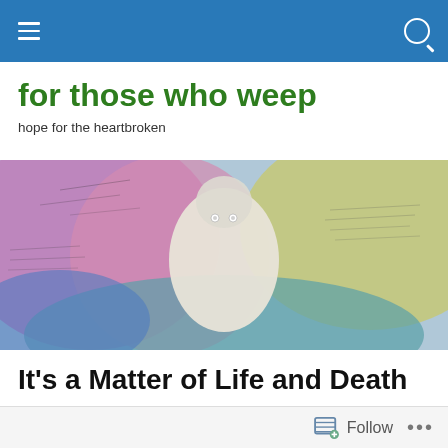Navigation bar with menu and search icons
for those who weep
hope for the heartbroken
[Figure (photo): Colorful mixed-media artwork showing an abstract bird or heart shape in the center with purple, blue, yellow, and pink hues, with text overlays visible in the background]
It’s a Matter of Life and Death
I think about death a lot. Don’t misunderstand me. I do not
Follow …